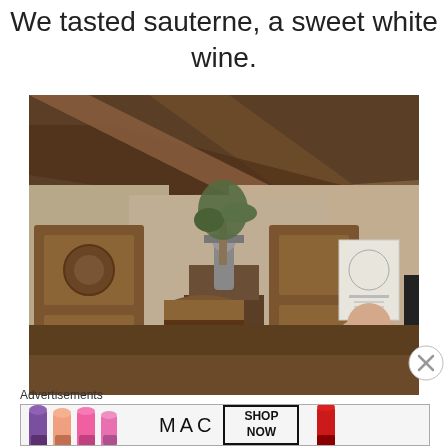We tasted sauterne, a sweet white wine.
[Figure (photo): Interior of a rustic winery or wine cellar with exposed wooden beams on the ceiling, wooden barrels, a wine press in the center, wooden paneled doors and walls with plaster finish, a small plant/olive branch in a vase, a framed poster on the wall, and a man seated on the right side.]
Advertisements
[Figure (photo): MAC cosmetics advertisement banner showing colorful lipsticks on the left, MAC logo in the center, and a SHOP NOW button on the right with a red lipstick.]